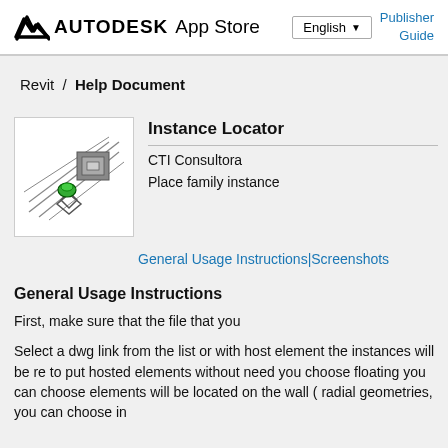AUTODESK App Store  English  Publisher Guide
Revit / Help Document
[Figure (screenshot): Instance Locator app icon showing a floor plan with a green element highlighted]
Instance Locator
CTI Consultora
Place family instance
General Usage Instructions | Screenshots
General Usage Instructions
First, make sure that the file that you
Select a dwg link from the list or with host element the instances will be re to put hosted elements without need you choose floating you can choose elements will be located on the wall ( radial geometries, you can choose in